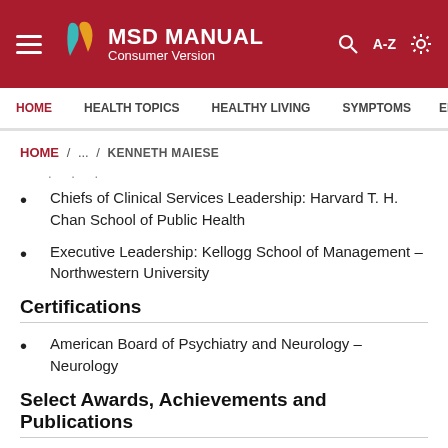MSD MANUAL Consumer Version
HOME / ... / KENNETH MAIESE
Chiefs of Clinical Services Leadership: Harvard T. H. Chan School of Public Health
Executive Leadership: Kellogg School of Management – Northwestern University
Certifications
American Board of Psychiatry and Neurology – Neurology
Select Awards, Achievements and Publications